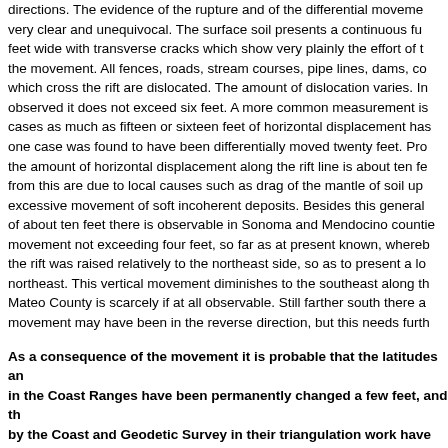directions. The evidence of the rupture and of the differential movement is very clear and unequivocal. The surface soil presents a continuous furrow, feet wide with transverse cracks which show very plainly the effort of the the movement. All fences, roads, stream courses, pipe lines, dams, cor which cross the rift are dislocated. The amount of dislocation varies. In observed it does not exceed six feet. A more common measurement is cases as much as fifteen or sixteen feet of horizontal displacement has one case was found to have been differentially moved twenty feet. Prob the amount of horizontal displacement along the rift line is about ten fe from this are due to local causes such as drag of the mantle of soil upo excessive movement of soft incoherent deposits. Besides this general of about ten feet there is observable in Sonoma and Mendocino countie movement not exceeding four feet, so far as at present known, wherebythe rift was raised relatively to the northeast side, so as to present a lo northeast. This vertical movement diminishes to the southeast along th Mateo County is scarcely if at all observable. Still farther south there ar movement may have been in the reverse direction, but this needs furth
As a consequence of the movement it is probable that the latitudes and in the Coast Ranges have been permanently changed a few feet, and th by the Coast and Geodetic Survey in their triangulation work have been is hoped that a reoccupation of some of these stations by the Coast an contribute data to the final estimate of the amount of movement.
The great length of the rift upon which movement has occurred makes Such length implies great depth of rupture, and the study of the questi believed, contribute much to current geophysical conceptions.
The time of the beginning of the earthquake as recorded in the Observa 12m 6s a.m., Pacific standard time. The end of the shock was 5h 13m